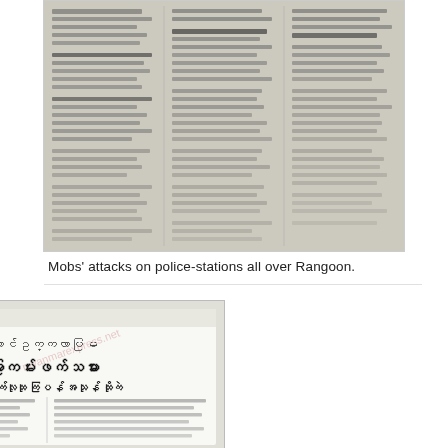[Figure (photo): Scanned newspaper page in Burmese script showing three columns of text, slightly blurred/angled photograph of a Myanmar newspaper article about mobs attacking police stations in Rangoon.]
Mobs' attacks on police-stations all over Rangoon.
[Figure (photo): Scanned Myanmar newspaper clipping with large Burmese script headline and body text in two columns, partially obscured by a diagonal watermark reading 'myanmarexpress.net'. The header shows 'ol aon|gg' and the large headline text is in Burmese. The article appears to be about violence or incidents involving civilians.]